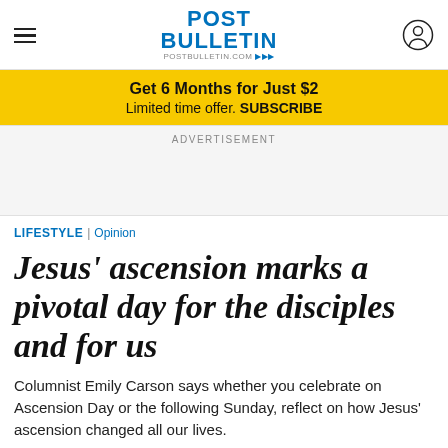POST BULLETIN | postbulletin.com
Get 6 Months for Just $2
Limited time offer. SUBSCRIBE
ADVERTISEMENT
LIFESTYLE | Opinion
Jesus' ascension marks a pivotal day for the disciples and for us
Columnist Emily Carson says whether you celebrate on Ascension Day or the following Sunday, reflect on how Jesus' ascension changed all our lives.